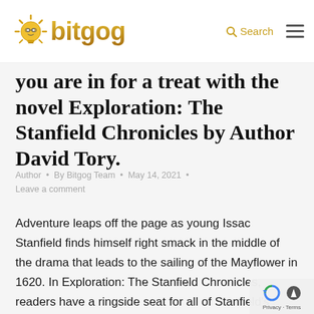bitgog — Search
you are in for a treat with the novel Exploration: The Stanfield Chronicles by Author David Tory.
Author • By Bitgog Team • May 14, 2021 • Leave a comment
Adventure leaps off the page as young Issac Stanfield finds himself right smack in the middle of the drama that leads to the sailing of the Mayflower in 1620. In Exploration: The Stanfield Chronicles, readers have a ringside seat for all of Stanfield's serendipitous swashbuckling, whi- author David Tory interweaves fiction with